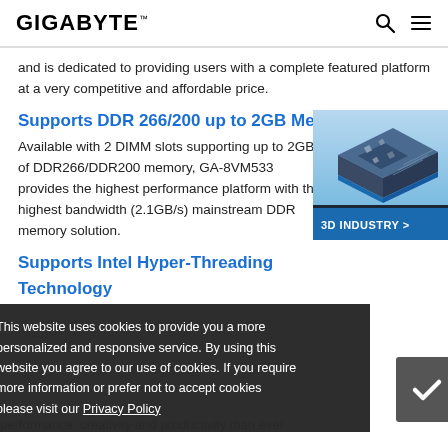GIGABYTE
and is dedicated to providing users with a complete featured platform at a very competitive and affordable price.
Supports DDR 266/200 up to 2GB Memory
Available with 2 DIMM slots supporting up to 2GB of DDR266/DDR200 memory, GA-8VM533 provides the highest performance platform with the highest bandwidth (2.1GB/s) mainstream DDR memory solution.
[Figure (illustration): 3D Industry badge/image showing a 3D rendered circuit board or industrial component with a '3D INDUSTRY >' label overlay]
Supports Intel Hyper-Threading Technology
This website uses cookies to provide you a more personalized and responsive service. By using this website you agree to our use of cookies. If you require more information or prefer not to accept cookies please visit our Privacy Policy
performance, creativity and productivity than ever